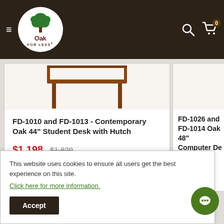[Figure (logo): Oak For Less logo - green tree in white circle on dark brown header background]
FD-1010 and FD-1013 - Contemporary Oak 44" Student Desk with Hutch
$1,198 $1,829
FD-1026 and FD-1014 Oak 48" Computer De...
$1,998 $2,989
This website uses cookies to ensure all users get the best experience on this site. Click here for more information.
Accept